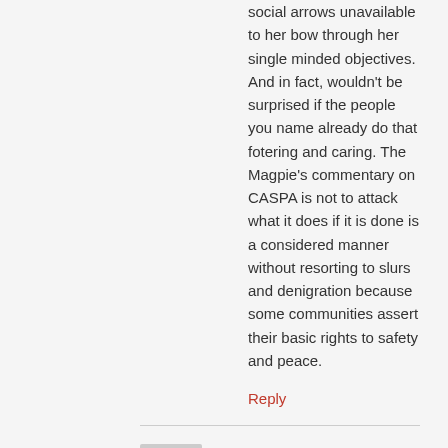social arrows unavailable to her bow through her single minded objectives. And in fact, wouldn't be surprised if the people you name already do that fotering and caring. The Magpie's commentary on CASPA is not to attack what it does if it is done is a considered manner without resorting to slurs and denigration because some communities assert their basic rights to safety and peace.
Reply
Kris - June 10, 2022 at 10:21 am
Pressure comes from both sides. Lock them up and the detention place sooner or later explodes. Leave them loose without family or community support and the wider community explodes. The